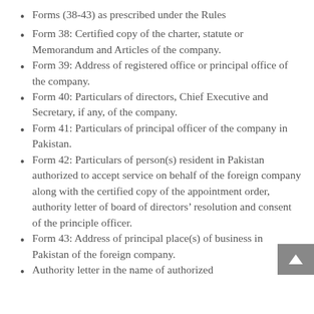Forms (38-43) as prescribed under the Rules
Form 38: Certified copy of the charter, statute or Memorandum and Articles of the company.
Form 39: Address of registered office or principal office of the company.
Form 40: Particulars of directors, Chief Executive and Secretary, if any, of the company.
Form 41: Particulars of principal officer of the company in Pakistan.
Form 42: Particulars of person(s) resident in Pakistan authorized to accept service on behalf of the foreign company along with the certified copy of the appointment order, authority letter of board of directors’ resolution and consent of the principle officer.
Form 43: Address of principal place(s) of business in Pakistan of the foreign company.
Authority letter in the name of authorized